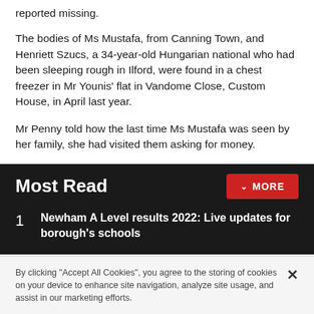reported missing.
The bodies of Ms Mustafa, from Canning Town, and Henriett Szucs, a 34-year-old Hungarian national who had been sleeping rough in Ilford, were found in a chest freezer in Mr Younis' flat in Vandome Close, Custom House, in April last year.
Mr Penny told how the last time Ms Mustafa was seen by her family, she had visited them asking for money.
Most Read
1 Newham A Level results 2022: Live updates for borough's schools
By clicking "Accept All Cookies", you agree to the storing of cookies on your device to enhance site navigation, analyze site usage, and assist in our marketing efforts.